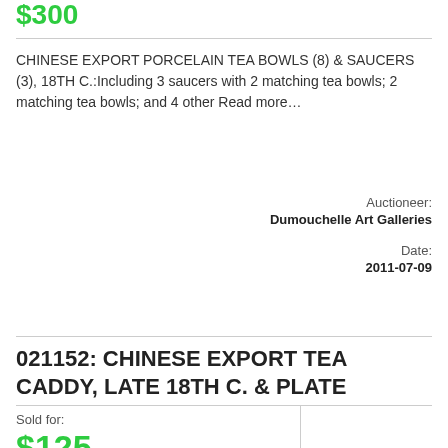$300
CHINESE EXPORT PORCELAIN TEA BOWLS (8) & SAUCERS (3), 18TH C.:Including 3 saucers with 2 matching tea bowls; 2 matching tea bowls; and 4 other Read more…
Auctioneer:
Dumouchelle Art Galleries
Date:
2011-07-09
021152: CHINESE EXPORT TEA CADDY, LATE 18TH C. & PLATE
Sold for:
$125